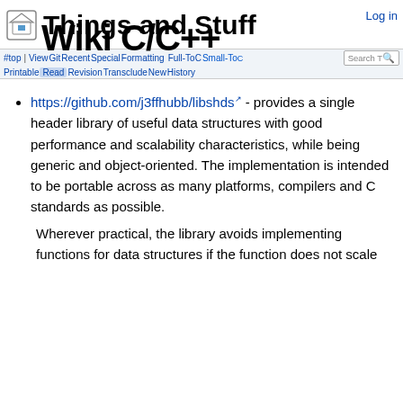Things and Stuff — Log in
Wiki C/C++
#top  View  Git  Recent  Special  Formatting  Full-ToC  Small-ToC  Printable  Read  Revision  Transclude  New  History  Search
https://github.com/j3ffhubb/libshds - provides a single header library of useful data structures with good performance and scalability characteristics, while being generic and object-oriented. The implementation is intended to be portable across as many platforms, compilers and C standards as possible.
Wherever practical, the library avoids implementing functions for data structures if the function does not scale